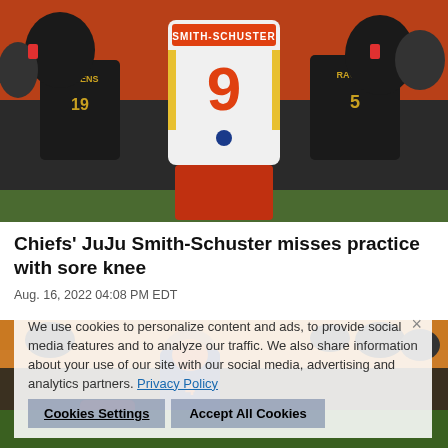[Figure (photo): NFL player wearing Kansas City Chiefs white jersey number 9 (Smith-Schuster) from behind, surrounded by Baltimore Ravens fans in black and gold jerseys in stadium stands, orange background]
Chiefs' JuJu Smith-Schuster misses practice with sore knee
Aug. 16, 2022 04:08 PM EDT
We use cookies to personalize content and ads, to provide social media features and to analyze our traffic. We also share information about your use of our site with our social media, advertising and analytics partners. Privacy Policy
[Figure (photo): NFL game action photo showing players from Kansas City Chiefs and Chicago Bears during a game]